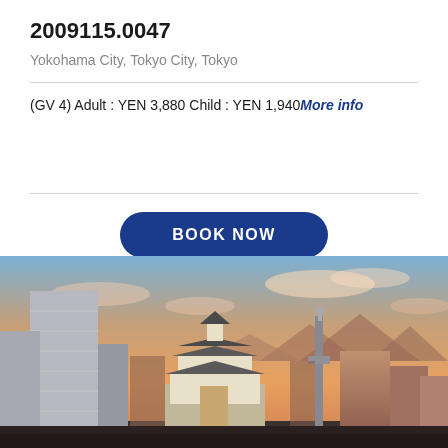2009115.0047
Yokohama City, Tokyo City, Tokyo
(GV 4) Adult : YEN 3,880 Child : YEN 1,940 More info
BOOK NOW
[Figure (photo): Cityscape at sunset showing buildings including a tall skyscraper, a traditional Japanese castle/pagoda structure in the center, a tower, and mountains in the background under an orange-pink sky with clouds.]